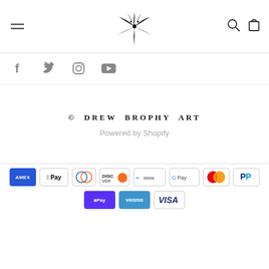[Figure (logo): Drew Brophy Art website header with hamburger menu, decorative logo mark in center, search and cart icons on right]
[Figure (infographic): Social media icons row: Facebook, Twitter, Instagram, YouTube]
© DREW BROPHY ART
Powered by Shopify
[Figure (infographic): Payment method icons: American Express, Apple Pay, Diners Club, Discover, Meta Pay, Google Pay, Mastercard, PayPal, Shop Pay, Venmo, Visa]